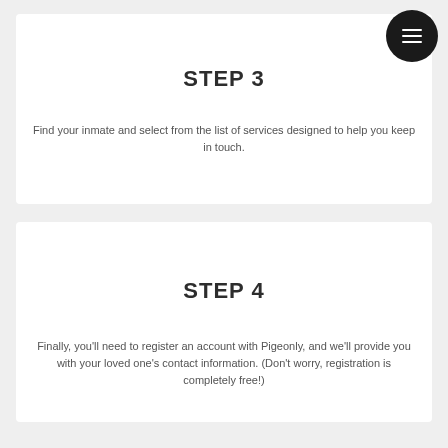STEP 3
Find your inmate and select from the list of services designed to help you keep in touch.
STEP 4
Finally, you'll need to register an account with Pigeonly, and we'll provide you with your loved one's contact information. (Don't worry, registration is completely free!)